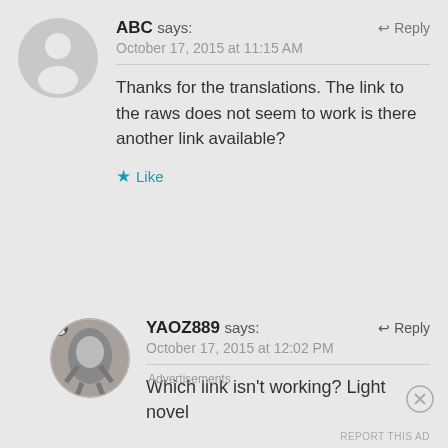ABC says: October 17, 2015 at 11:15 AM
Thanks for the translations. The link to the raws does not seem to work is there another link available?
Like
[Figure (illustration): Gray circle avatar with silhouette of a person, for user ABC]
YAOZ889 says: October 17, 2015 at 12:02 PM
Which link isn't working? Light novel
[Figure (photo): Circular avatar showing a detailed metallic or robot-like figure, for user YAOZ889]
Advertisements